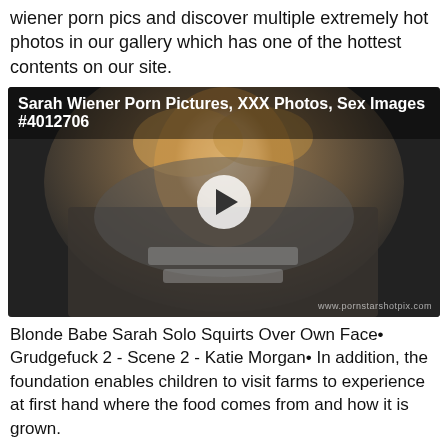wiener porn pics and discover multiple extremely hot photos in our gallery which has one of the hottest contents on our site.
[Figure (photo): Thumbnail image card with title 'Sarah Wiener Porn Pictures, XXX Photos, Sex Images #4012706' and a play button overlay on a dark photo of a blonde woman]
Blonde Babe Sarah Solo Squirts Over Own Face• Grudgefuck 2 - Scene 2 - Katie Morgan• In addition, the foundation enables children to visit farms to experience at first hand where the food comes from and how it is grown.
[Figure (screenshot): Ad bar reading 'Celebrity Fakes Sarah Wiener Free Videos' with 'GET LAID TONIGHT!!!' on the right in red]
[Figure (photo): Row of small thumbnail images at the bottom of the page]